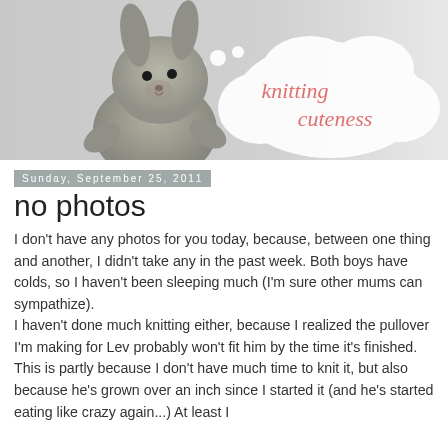[Figure (illustration): Blog header image showing a knitted grey bunny stuffed animal on a light grey background, with a white thought bubble containing the italic pink/salmon text 'knitting cuteness']
Sunday, September 25, 2011
no photos
I don't have any photos for you today, because, between one thing and another, I didn't take any in the past week. Both boys have colds, so I haven't been sleeping much (I'm sure other mums can sympathize).
I haven't done much knitting either, because I realized the pullover I'm making for Lev probably won't fit him by the time it's finished. This is partly because I don't have much time to knit it, but also because he's grown over an inch since I started it (and he's started eating like crazy again...) At least I